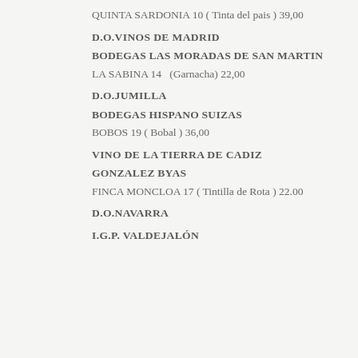QUINTA SARDONIA 10 ( Tinta del pais )  39,00
D.O.VINOS DE MADRID
BODEGAS LAS MORADAS DE SAN MARTIN
LA SABINA 14   (Garnacha) 22,00
D.O.JUMILLA
BODEGAS HISPANO SUIZAS
BOBOS 19 ( Bobal )  36,00
VINO DE LA TIERRA DE CADIZ
GONZALEZ BYAS
FINCA MONCLOA 17 ( Tintilla de Rota )  22.00
D.O.NAVARRA
I.G.P. VALDEJALÓN